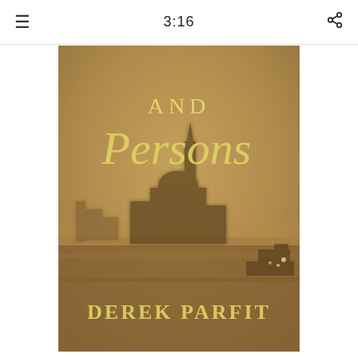3:16
[Figure (photo): Book cover of 'Reasons and Persons' by Derek Parfit. The cover shows a misty, atmospheric photograph of Venice (a church silhouette and waterfront in fog). The title text 'AND Persons' is shown in yellow/gold italic serif font at the top, and 'DEREK PARFIT' is shown in yellow/gold serif capital letters near the bottom. The background is a warm sepia/amber toned foggy Venetian scene.]